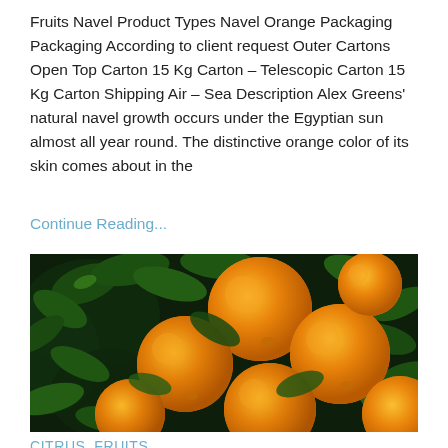Fruits Navel Product Types Navel Orange Packaging Packaging According to client request Outer Cartons Open Top Carton 15 Kg Carton – Telescopic Carton 15 Kg Carton Shipping Air – Sea Description Alex Greens' natural navel growth occurs under the Egyptian sun almost all year round. The distinctive orange color of its skin comes about in the
Continue Reading...
[Figure (photo): Close-up photo of ripe orange navel citrus fruits on a tree surrounded by dark green leaves]
CITRUS, FRUITS